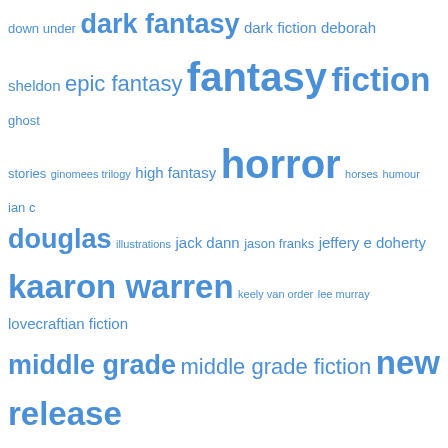[Figure (other): Tag cloud with book/fiction genre and author tags in various sizes in blue, including: down under, dark fantasy, dark fiction, deborah sheldon, epic fantasy, fantasy, fiction, ghost stories, ginomees trilogy, high fantasy, horror, horses, humour, ian c douglas, illustrations, jack dann, jason franks, jeffery e doherty, kaaron warren, keely van order, lee murray, lovecraftian fiction, middle grade, middle grade fiction, new release, newsletter, new zealand, nick stathopoulos, novel, paper magic, paula boer, peripheral visions, poetry, preorder, rebecca fraser, reforging series, release, robert hood, rowena evans, science fiction, short fiction, short fiction collection, short stories, short story collection, speculative fiction, star quake, steve proposch, The Equinora Chronicles, the grief hole, the guardians of st. giles, thriller, urban fantasy, warriors of vhast, weird, weird fiction, young adult, young]